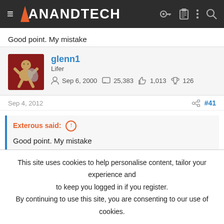AnandTech
Good point. My mistake
glenn1
Lifer
Sep 6, 2000   25,383   1,013   126
Sep 4, 2012   #41
Exterous said: ↑

Good point. My mistake
This site uses cookies to help personalise content, tailor your experience and to keep you logged in if you register.
By continuing to use this site, you are consenting to our use of cookies.